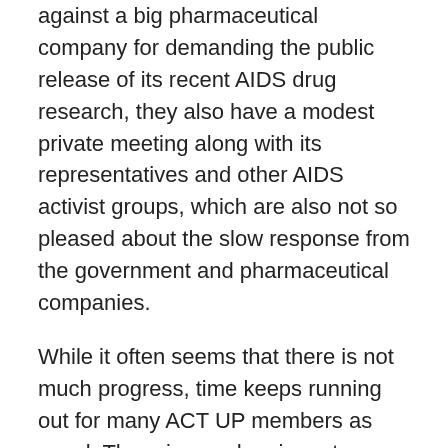against a big pharmaceutical company for demanding the public release of its recent AIDS drug research, they also have a modest private meeting along with its representatives and other AIDS activist groups, which are also not so pleased about the slow response from the government and pharmaceutical companies.
While it often seems that there is not much progress, time keeps running out for many ACT UP members as usual. There is a sad, poignant moment involved with one young member who unfortunately succumbs to a health complication resulted from AIDS, and then there comes an inevitable point where Sean and Nathan's relationship is severely tested. The final part of the movie is melodramatic indeed, but it is somberly handled with considerable restraint, and the result is emotionally resonant to say the least.